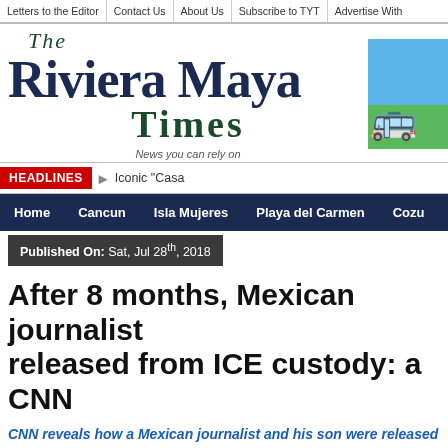Letters to the Editor | Contact Us | About Us | Subscribe to TYT | Advertise With
The Riviera Maya Times — News you can rely on
HEADLINES  Iconic "Casa
Home | Cancun | Isla Mujeres | Playa del Carmen | Cozu
Published On: Sat, Jul 28th, 2018
After 8 months, Mexican journalist released from ICE custody: a CNN
CNN reveals how a Mexican journalist and his son were released after eight months in a West Texas detention facility, and how qu about their detention.
Emilio Gutierrez doubts it was a sudden change of heart that promp